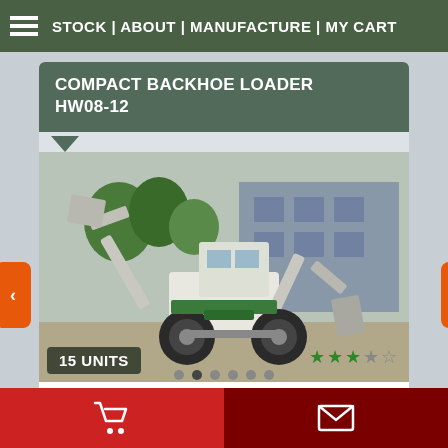STOCK | ABOUT | MANUFACTURE | MY CART
COMPACT BACKHOE LOADER HW08-12
[Figure (photo): Photo of a compact backhoe loader machine in a yard with a building in the background. Badge shows 15 UNITS available. Rating stars visible at bottom right.]
ID:1378
Manufactured by: Shandong Hengwang Group MORE INFO